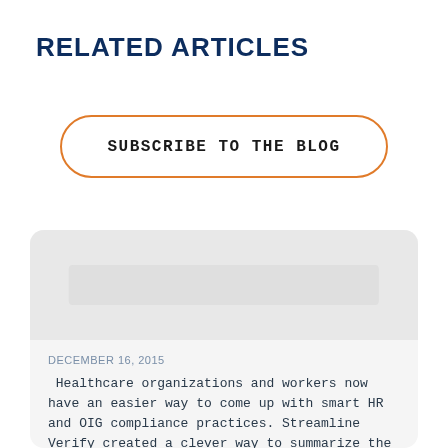RELATED ARTICLES
SUBSCRIBE TO THE BLOG
DECEMBER 16, 2015
Healthcare organizations and workers now have an easier way to come up with smart HR and OIG compliance practices. Streamline Verify created a clever way to summarize the rules and regulations...